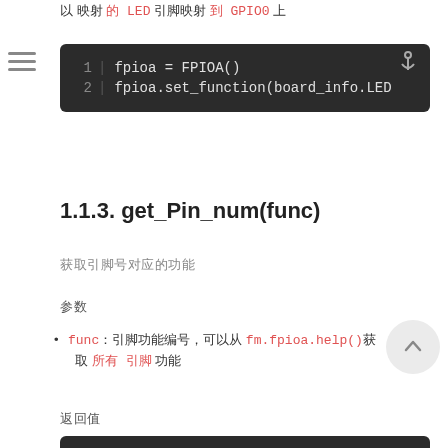以 映射 的 LED 引脚映射 到 GPIO0 上
[Figure (screenshot): Code block showing: 1  fpioa = FPIOA()  2  fpioa.set_function(board_info.LED...]
1.1.3. get_Pin_num(func)
获取引脚号对应的功能
参数
func：引脚功能编号，可以从 fm.fpioa.help() 获取 所有 引脚 功能
返回值
[Figure (screenshot): Bottom code block beginning (truncated)]